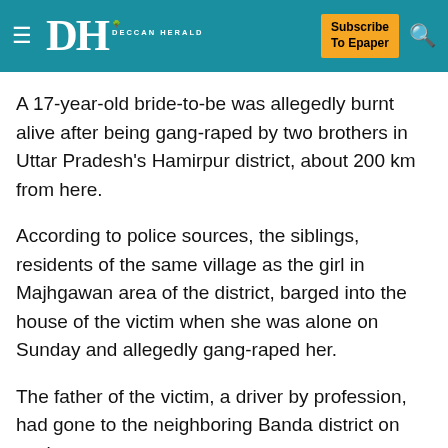DH DECCAN HERALD — Subscribe To Epaper
A 17-year-old bride-to-be was allegedly burnt alive after being gang-raped by two brothers in Uttar Pradesh's Hamirpur district, about 200 km from here.
According to police sources, the siblings, residents of the same village as the girl in Majhgawan area of the district, barged into the house of the victim when she was alone on Sunday and allegedly gang-raped her.
The father of the victim, a driver by profession, had gone to the neighboring Banda district on work.